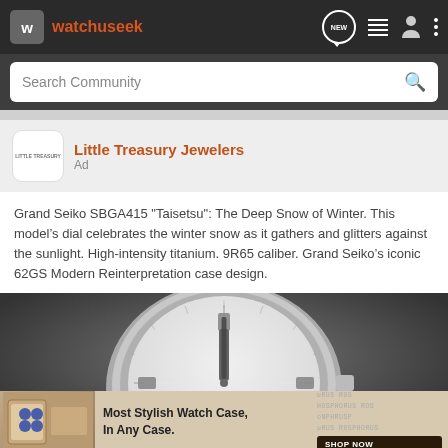watchuseek
Search Community
Little Treasury Jewelers
Ad
Grand Seiko SBGA415 "Taisetsu": The Deep Snow of Winter. This model's dial celebrates the winter snow as it gathers and glitters against the sunlight. High-intensity titanium. 9R65 caliber. Grand Seiko's iconic 62GS Modern Reinterpretation case design.
[Figure (photo): Close-up photo of a Grand Seiko watch face showing a white/silver textured dial with applied indices and hands, with a bezel and crown visible]
Most Stylish Watch Case, In Any Case.
SHOP NOW